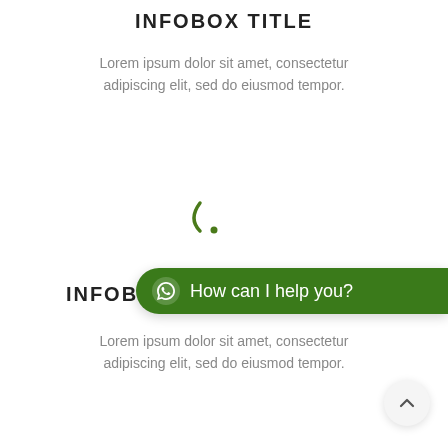INFOBOX TITLE
Lorem ipsum dolor sit amet, consectetur adipiscing elit, sed do eiusmod tempor.
[Figure (other): Partial loading spinner icon (green arc and dot)]
INFOBOX TITLE
[Figure (other): WhatsApp chat widget button with text 'How can I help you?']
Lorem ipsum dolor sit amet, consectetur adipiscing elit, sed do eiusmod tempor.
[Figure (other): Partial loading spinner icon (green arc and dot)]
INFOBOX TITLE
[Figure (other): Scroll to top button (chevron up arrow)]